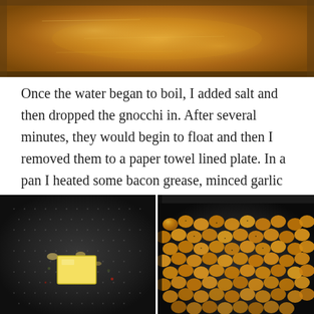[Figure (photo): Top portion of a pot with boiling water showing orange/golden colored liquid, cropped view from above]
Once the water began to boil, I added salt and then dropped the gnocchi in. After several minutes, they would begin to float and then I removed them to a paper towel lined plate. In a pan I heated some bacon grease, minced garlic and sage. I added the gnocchi in the pan and added some salt and pepper. I sautéed them for about 8-10 minutes, until they became golden brown!
[Figure (photo): Black pan with a pat of butter, minced garlic, herbs and spices, viewed from above]
[Figure (photo): Black pan filled with golden brown sautéed gnocchi, viewed from above]